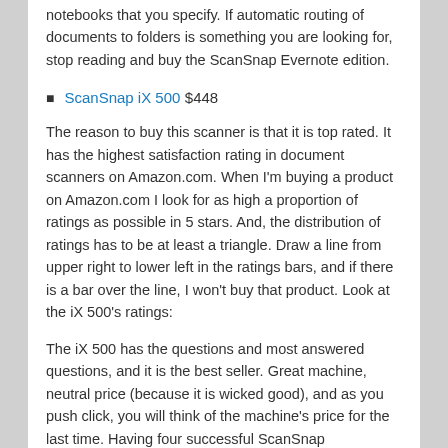notebooks that you specify. If automatic routing of documents to folders is something you are looking for, stop reading and buy the ScanSnap Evernote edition.
ScanSnap iX 500 $448
The reason to buy this scanner is that it is top rated. It has the highest satisfaction rating in document scanners on Amazon.com. When I'm buying a product on Amazon.com I look for as high a proportion of ratings as possible in 5 stars. And, the distribution of ratings has to be at least a triangle. Draw a line from upper right to lower left in the ratings bars, and if there is a bar over the line, I won't buy that product. Look at the iX 500's ratings:
The iX 500 has the questions and most answered questions, and it is the best seller. Great machine, neutral price (because it is wicked good), and as you push click, you will think of the machine's price for the last time. Having four successful ScanSnap